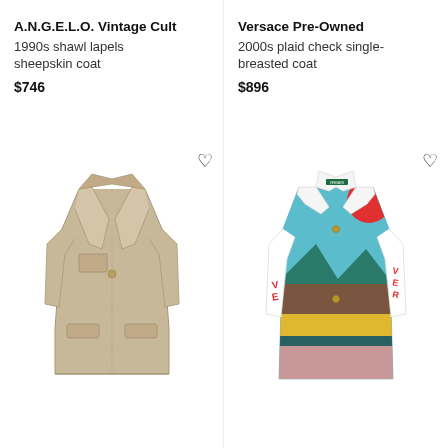A.N.G.E.L.O. Vintage Cult
1990s shawl lapels sheepskin coat
$746
[Figure (photo): Beige/tan long single-breasted overcoat with shawl lapels, front pockets, and gold buttons on a white background]
Versace Pre-Owned
2000s plaid check single-breasted coat
$896
[Figure (photo): Colorful Versace single-breasted long coat with landscape/scene print in teal, brown, yellow, pink, red, with white collar and Versace branding on sleeves]